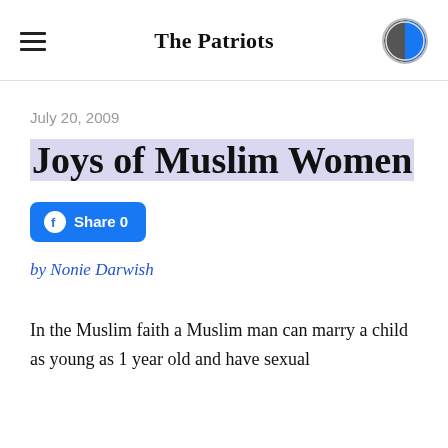The Patriots
July 20, 2009
Joys of Muslim Women
[Figure (other): Facebook Share button with count 0]
by Nonie Darwish
In the Muslim faith a Muslim man can marry a child as young as 1 year old and have sexual